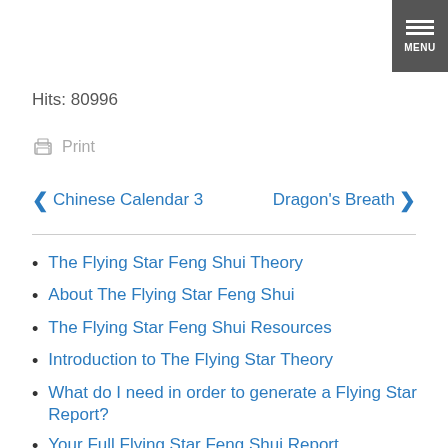[Figure (other): Dark grey hamburger menu button with three white horizontal bars and 'MENU' text label]
Hits: 80996
Print
Chinese Calendar 3
Dragon's Breath
The Flying Star Feng Shui Theory
About The Flying Star Feng Shui
The Flying Star Feng Shui Resources
Introduction to The Flying Star Theory
What do I need in order to generate a Flying Star Report?
Your Full Flying Star Feng Shui Report
What is a Flying Star Feng Shui Audit of the Home?